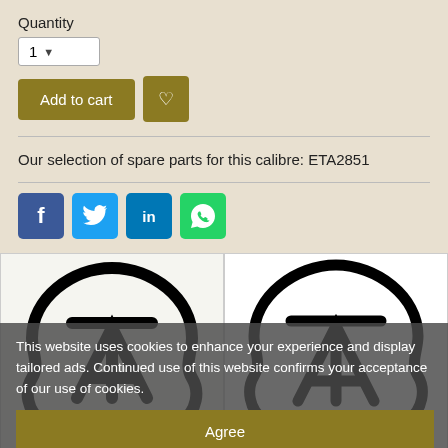Quantity
1
Add to cart
Our selection of spare parts for this calibre: ETA2851
[Figure (logo): Facebook, Twitter, LinkedIn, WhatsApp social share buttons]
[Figure (logo): Two ETA watch movement logo images side by side]
This website uses cookies to enhance your experience and display tailored ads. Continued use of this website confirms your acceptance of our use of cookies.
Agree